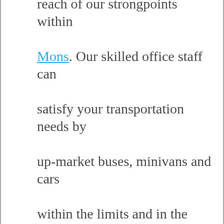reach of our strongpoints within Mons. Our skilled office staff can satisfy your transportation needs by up-market buses, minivans and cars within the limits and in the surroundings of Oudenaarde and supply you with highclass vehicles for any displacement in its vicinity. Be it just a quick sightseeing circuit